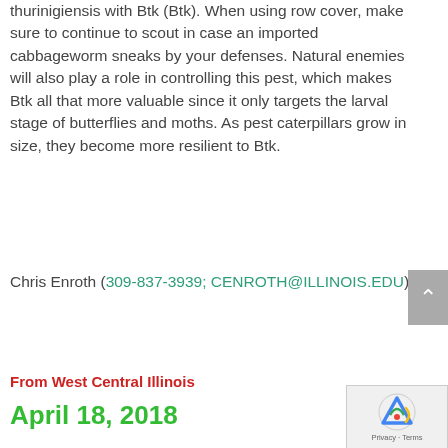thurinigiensis with Btk (Btk). When using row cover, make sure to continue to scout in case an imported cabbageworm sneaks by your defenses. Natural enemies will also play a role in controlling this pest, which makes Btk all that more valuable since it only targets the larval stage of butterflies and moths. As pest caterpillars grow in size, they become more resilient to Btk.
Chris Enroth (309-837-3939; CENROTH@ILLINOIS.EDU)
From West Central Illinois
April 18, 2018